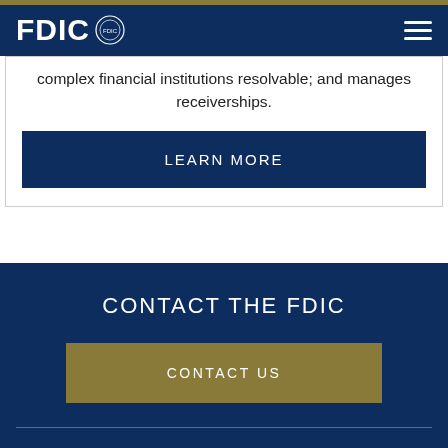FDIC
complex financial institutions resolvable; and manages receiverships.
LEARN MORE
CONTACT THE FDIC
CONTACT US